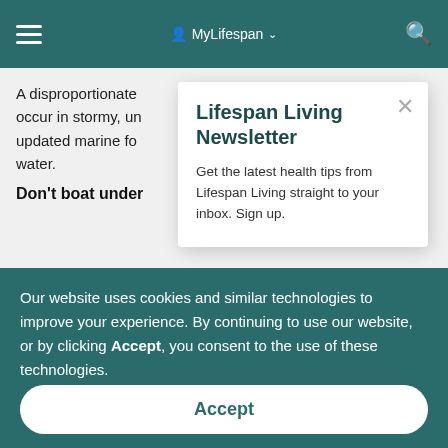MyLifespan
A disproportionate ... occur in stormy, un... updated marine fo... water.
Don't boat under...
Lifespan Living Newsletter
Get the latest health tips from Lifespan Living straight to your inbox. Sign up.
Our website uses cookies and similar technologies to improve your experience. By continuing to use our website, or by clicking Accept, you consent to the use of these technologies.
Accept